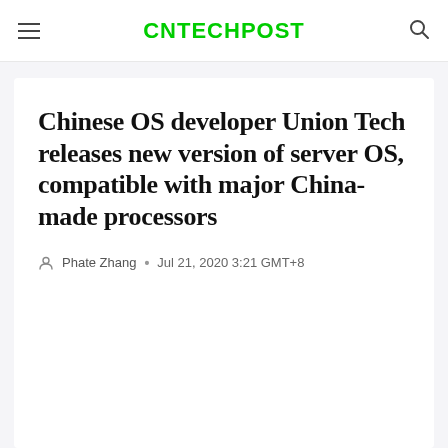CNTECHPOST
Chinese OS developer Union Tech releases new version of server OS, compatible with major China-made processors
Phate Zhang · Jul 21, 2020 3:21 GMT+8